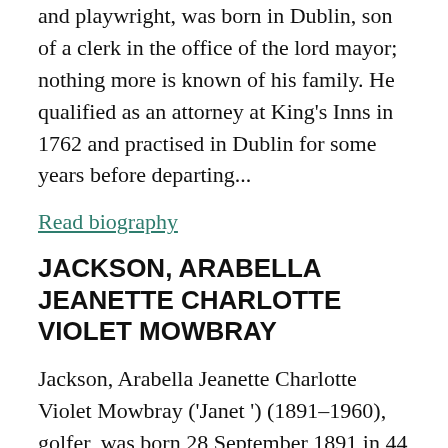and playwright, was born in Dublin, son of a clerk in the office of the lord mayor; nothing more is known of his family. He qualified as an attorney at King's Inns in 1762 and practised in Dublin for some years before departing...
Read biography
JACKSON, ARABELLA JEANETTE CHARLOTTE VIOLET MOWBRAY
Jackson, Arabella Jeanette Charlotte Violet Mowbray ('Janet ') (1891–1960), golfer, was born 28 September 1891 in 44 Fitzwilliam Square, Dublin, second among at least three children born to Howard William ('Henry') Jackson (1855–